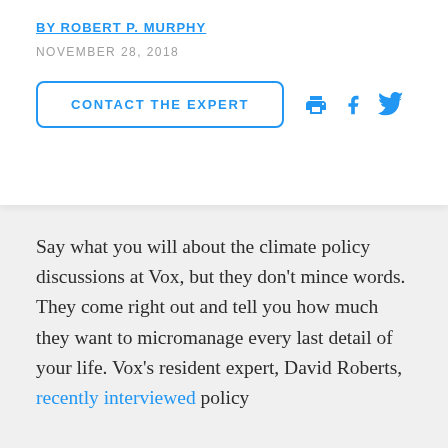BY ROBERT P. MURPHY
NOVEMBER 28, 2018
CONTACT THE EXPERT
Say what you will about the climate policy discussions at Vox, but they don’t mince words. They come right out and tell you how much they want to micromanage every last detail of your life. Vox’s resident expert, David Roberts, recently interviewed policy